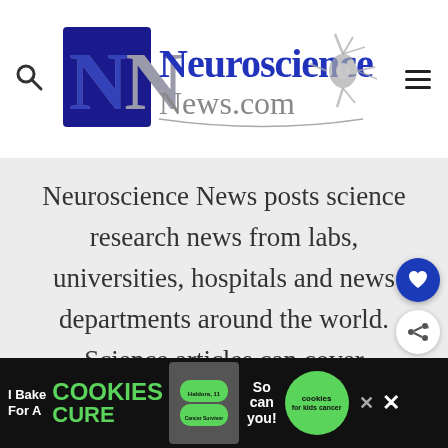[Figure (logo): Neuroscience News.com logo with interlinked NN letters and neural cell graphic]
Neuroscience News posts science research news from labs, universities, hospitals and news departments around the world. Science articles can cover neuroscience, psychology, AI, robotics, neurology, brain cancer, mental health, machine learning, autism, Parkinson's, Alzheimer's,
[Figure (infographic): I Bake COOKIES For A CURE advertisement banner with Haldora, Cancer Survivor and cookies for kids cancer branding]